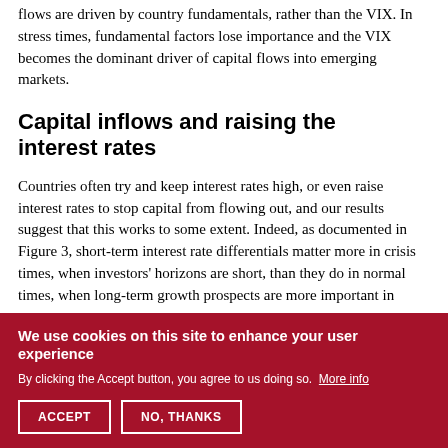flows are driven by country fundamentals, rather than the VIX. In stress times, fundamental factors lose importance and the VIX becomes the dominant driver of capital flows into emerging markets.
Capital inflows and raising the interest rates
Countries often try and keep interest rates high, or even raise interest rates to stop capital from flowing out, and our results suggest that this works to some extent. Indeed, as documented in Figure 3, short-term interest rate differentials matter more in crisis times, when investors' horizons are short, than they do in normal times, when long-term growth prospects are more important in
We use cookies on this site to enhance your user experience
By clicking the Accept button, you agree to us doing so. More info
ACCEPT
NO, THANKS